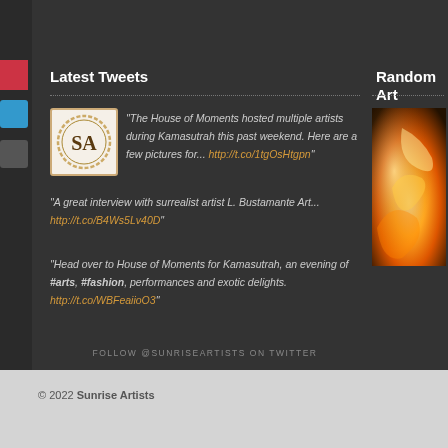Latest Tweets
Random Art
"The House of Moments hosted multiple artists during Kamasutrah this past weekend. Here are a few pictures for... http://t.co/1tgOsHtgpn"
"A great interview with surrealist artist L. Bustamante Art... http://t.co/B4Ws5Lv40D"
"Head over to House of Moments for Kamasutrah, an evening of #arts, #fashion, performances and exotic delights. http://t.co/WBFeaiioO3"
FOLLOW @SUNRISEARTISTS ON TWITTER
[Figure (photo): Sunrise Artists logo with SA letters in ornate circular border]
[Figure (photo): Abstract warm orange/red/golden art piece]
© 2022 Sunrise Artists